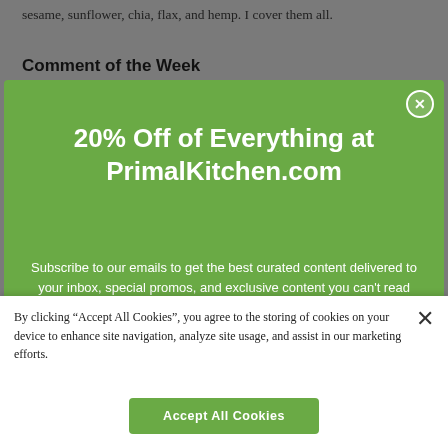sesame, sunflower, chia, flax, and hemp. I cover them all.
Comment of the Week
[Figure (screenshot): Green promotional modal overlay: '20% Off of Everything at PrimalKitchen.com' with subtitle 'Subscribe to our emails to get the best curated content delivered to your inbox, special promos, and exclusive content you can't read anywhere else.' and an email input field with placeholder 'Enter your email address'. A circular close button (X) is in the top right corner.]
[Figure (screenshot): White cookie consent banner at bottom: 'By clicking "Accept All Cookies", you agree to the storing of cookies on your device to enhance site navigation, analyze site usage, and assist in our marketing efforts.' with an 'Accept All Cookies' green button and a close X button.]